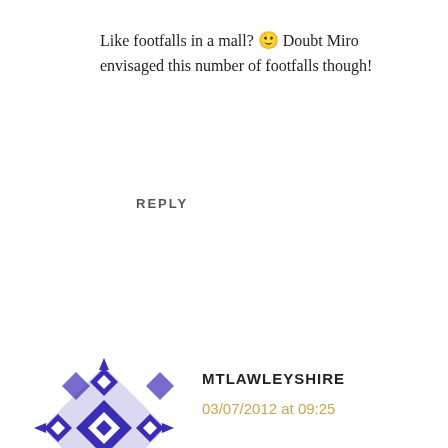Like footfalls in a mall? 🙂 Doubt Miro envisaged this number of footfalls though!
REPLY
[Figure (illustration): Blue and white geometric mosaic avatar icon with diamond and cross pattern]
MTLAWLEYSHIRE
03/07/2012 at 09:25
How beautiful! I love mosaic. I can't decide which I like best, though the 'not-carpet' and Medusa's Head are
The Urge To Wander uses cookies to enhance your experience on this website. By continuing to use the site you consent to our cookies. Privacy Policy
OK